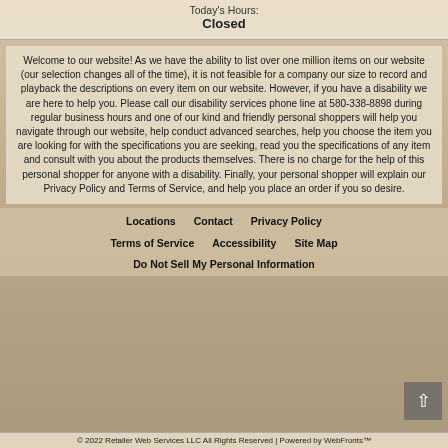Today's Hours: Closed
Welcome to our website! As we have the ability to list over one million items on our website (our selection changes all of the time), it is not feasible for a company our size to record and playback the descriptions on every item on our website. However, if you have a disability we are here to help you. Please call our disability services phone line at 580-338-8898 during regular business hours and one of our kind and friendly personal shoppers will help you navigate through our website, help conduct advanced searches, help you choose the item you are looking for with the specifications you are seeking, read you the specifications of any item and consult with you about the products themselves. There is no charge for the help of this personal shopper for anyone with a disability. Finally, your personal shopper will explain our Privacy Policy and Terms of Service, and help you place an order if you so desire.
Locations
Contact
Privacy Policy
Terms of Service
Accessibility
Site Map
Do Not Sell My Personal Information
© 2022 Retailer Web Services LLC All Rights Reserved | Powered by WebFronts™